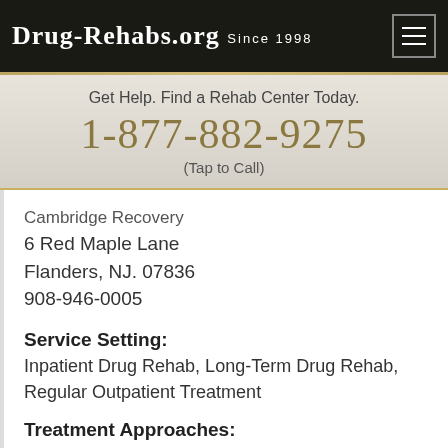Drug-Rehabs.org Since 1998
Get Help. Find a Rehab Center Today.
1-877-882-9275
(Tap to Call)
Cambridge Recovery
6 Red Maple Lane
Flanders, NJ. 07836
908-946-0005
Service Setting:
Inpatient Drug Rehab, Long-Term Drug Rehab, Regular Outpatient Treatment
Treatment Approaches:
Cognitive/behavior Therapy, Relapse prevention, Substance abuse counseling approach, 12-step facilitation approach
Chat now